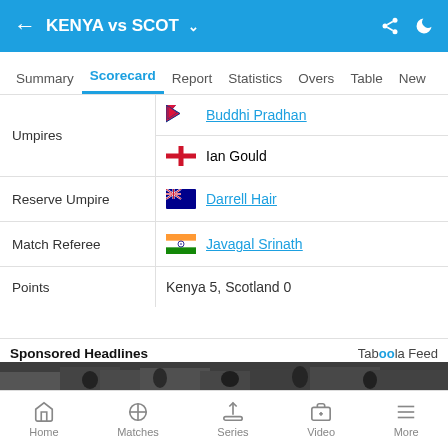KENYA vs SCOT
Summary  Scorecard  Report  Statistics  Overs  Table  New
|  |  |
| --- | --- |
| Umpires | Buddhi Pradhan / Ian Gould |
| Reserve Umpire | Darrell Hair |
| Match Referee | Javagal Srinath |
| Points | Kenya 5, Scotland 0 |
Sponsored Headlines
[Figure (photo): Group of people on a city street]
Home  Matches  Series  Video  More